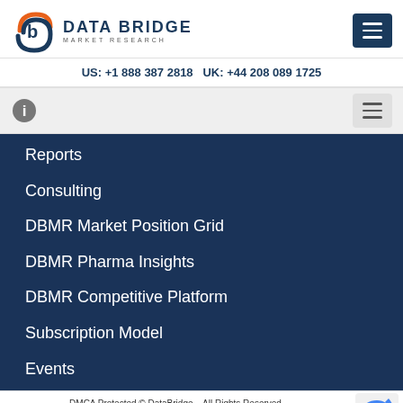[Figure (logo): Data Bridge Market Research logo with stylized 'b' icon in orange and blue, and company name in dark blue capitals]
US: +1 888 387 2818 UK: +44 208 089 1725
Reports
Consulting
DBMR Market Position Grid
DBMR Pharma Insights
DBMR Competitive Platform
Subscription Model
Events
DMCA Protected © DataBridge – All Rights Reserved
View Report
Request for Sample